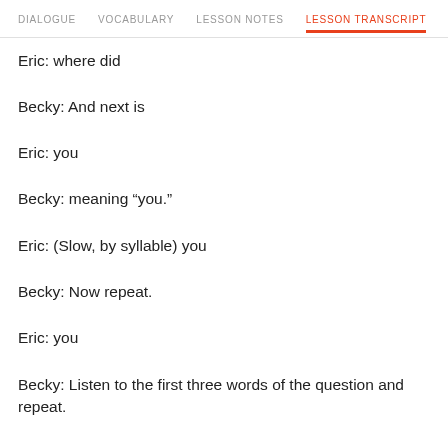DIALOGUE | VOCABULARY | LESSON NOTES | LESSON TRANSCRIPT | C
Eric: where did
Becky: And next is
Eric: you
Becky: meaning “you.”
Eric: (Slow, by syllable) you
Becky: Now repeat.
Eric: you
Becky: Listen to the first three words of the question and repeat.